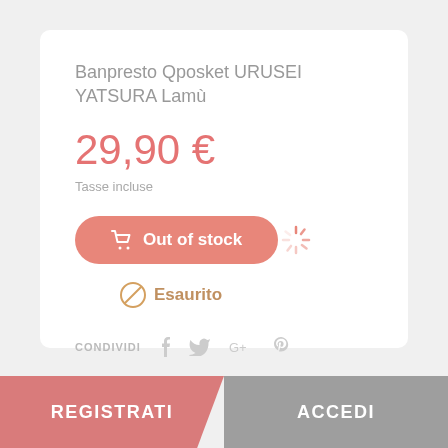Banpresto Qposket URUSEI YATSURA Lamù
29,90 €
Tasse incluse
[Figure (other): Out of stock button with salmon/coral rounded background, shopping cart icon, text 'Out of stock', and a loading spinner to the right]
Esaurito
CONDIVIDI  f  t  G+  P
REGISTRATI
ACCEDI